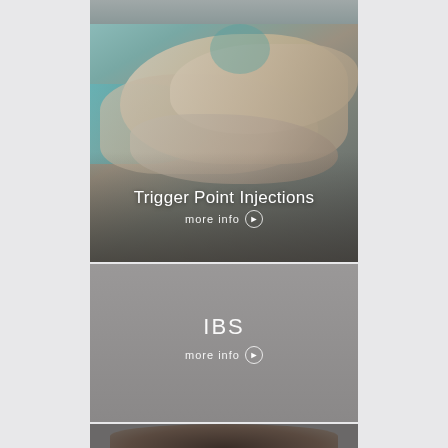[Figure (photo): Top partial strip showing a medical/clinical background, teal-gray tones]
[Figure (photo): Medical gloved hands performing a trigger point injection procedure, teal and gray tones overlay]
Trigger Point Injections
more info ❯
[Figure (photo): Solid gray/taupe background panel for IBS entry]
IBS
more info ❯
[Figure (photo): Bottom partial strip showing top of a person's dark hair, partially visible]